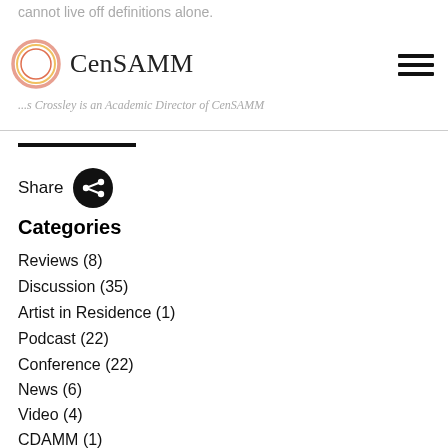cannot live off definitions alone.
[Figure (logo): CenSAMM logo: circle with red/orange ring and text 'CenSAMM' in serif font]
...s Crossley is an Academic Director of CenSAMM
Share
Categories
Reviews (8)
Discussion (35)
Artist in Residence (1)
Podcast (22)
Conference (22)
News (6)
Video (4)
CDAMM (1)
Tags